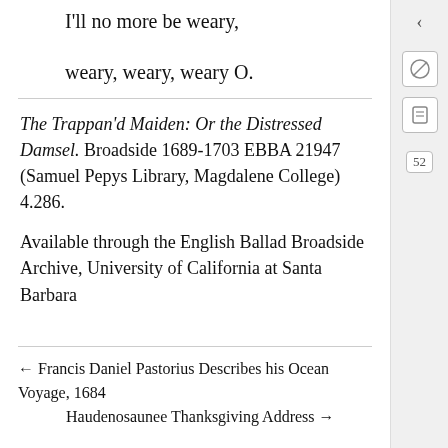I'll no more be weary,
weary, weary, weary O.
The Trappan'd Maiden: Or the Distressed Damsel. Broadside 1689-1703 EBBA 21947 (Samuel Pepys Library, Magdalene College) 4.286.
Available through the English Ballad Broadside Archive, University of California at Santa Barbara
← Francis Daniel Pastorius Describes his Ocean Voyage, 1684
Haudenosaunee Thanksgiving Address →